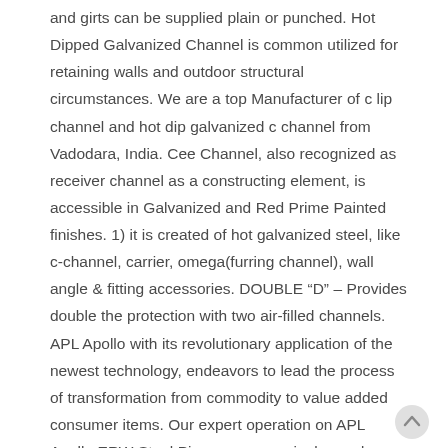and girts can be supplied plain or punched. Hot Dipped Galvanized Channel is common utilized for retaining walls and outdoor structural circumstances. We are a top Manufacturer of c lip channel and hot dip galvanized c channel from Vadodara, India. Cee Channel, also recognized as receiver channel as a constructing element, is accessible in Galvanized and Red Prime Painted finishes. 1) it is created of hot galvanized steel, like c-channel, carrier, omega(furring channel), wall angle & fitting accessories. DOUBLE “D” – Provides double the protection with two air-filled channels. APL Apollo with its revolutionary application of the newest technology, endeavors to lead the process of transformation from commodity to value added consumer items. Our expert operation on APL Apollo ERW Steel Pipes gave genuinely good benefits as the testing requires spot just before use. Procured CRFH Coils from JSW Steel to expand item variety.